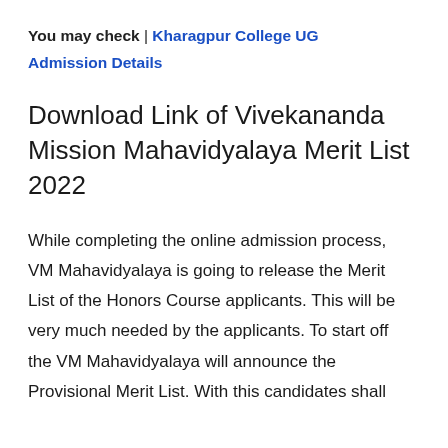You may check | Kharagpur College UG Admission Details
Download Link of Vivekananda Mission Mahavidyalaya Merit List 2022
While completing the online admission process, VM Mahavidyalaya is going to release the Merit List of the Honors Course applicants. This will be very much needed by the applicants. To start off the VM Mahavidyalaya will announce the Provisional Merit List. With this candidates shall